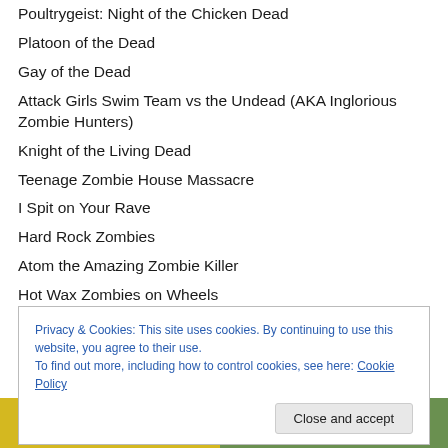Poultrygeist: Night of the Chicken Dead
Platoon of the Dead
Gay of the Dead
Attack Girls Swim Team vs the Undead (AKA Inglorious Zombie Hunters)
Knight of the Living Dead
Teenage Zombie House Massacre
I Spit on Your Rave
Hard Rock Zombies
Atom the Amazing Zombie Killer
Hot Wax Zombies on Wheels
Privacy & Cookies: This site uses cookies. By continuing to use this website, you agree to their use.
To find out more, including how to control cookies, see here: Cookie Policy
[Figure (photo): Partial image of a movie poster or DVD cover for Roadkill]